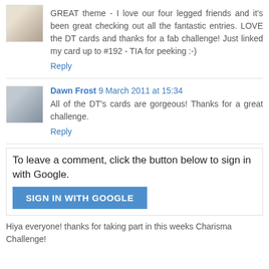GREAT theme - I love our four legged friends and it's been great checking out all the fantastic entries. LOVE the DT cards and thanks for a fab challenge! Just linked my card up to #192 - TIA for peeking :-)
Reply
Dawn Frost 9 March 2011 at 15:34
All of the DT's cards are gorgeous! Thanks for a great challenge.
Reply
To leave a comment, click the button below to sign in with Google.
SIGN IN WITH GOOGLE
Hiya everyone! thanks for taking part in this weeks Charisma Challenge!